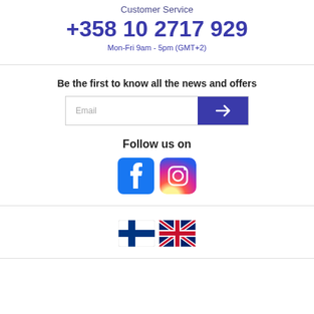Customer Service
+358 10 2717 929
Mon-Fri 9am - 5pm (GMT+2)
Be the first to know all the news and offers
[Figure (screenshot): Email input field with blue submit button containing a forward arrow icon]
Follow us on
[Figure (logo): Facebook and Instagram social media icons side by side]
[Figure (illustration): Finnish flag and UK flag icons for language selection]